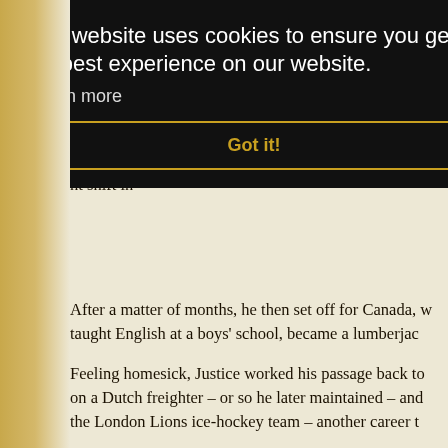still only 21. It wasn't long before he secured a job at London, where another reporter was the young Ian F.
His friend, the Duke of Edinburgh, said that Justice was personality to match' and 'lived every bit of his life to
But Justice was at the job. One colleague called night shift in
[Figure (screenshot): Cookie consent overlay with black background. Text reads: 'This website uses cookies to ensure you get the best experience on our website.' with 'Learn more' link and 'Got it!' button with gold border.]
After a matter of months, he then set off for Canada, where he taught English at a boys' school, became a lumberjac
Feeling homesick, Justice worked his passage back to on a Dutch freighter – or so he later maintained – and the London Lions ice-hockey team – another career t
Undeterred, he tried his hand at motor racing, entering Surrey.
But, characteristically, he disappeared again – to beco League of Nations in the Saar area of Germany.